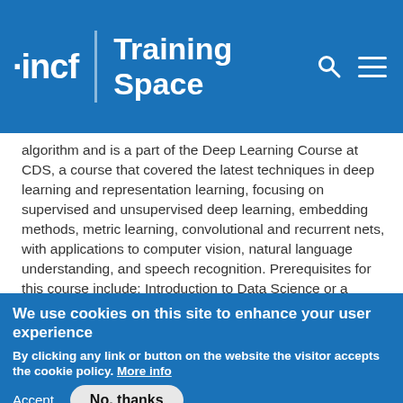incf | Training Space
algorithm and is a part of the Deep Learning Course at CDS, a course that covered the latest techniques in deep learning and representation learning, focusing on supervised and unsupervised deep learning, embedding methods, metric learning, convolutional and recurrent nets, with applications to computer vision, natural language understanding, and speech recognition. Prerequisites for this course include: Introduction to Data Science or a Graduate Level Machine Learning.
We use cookies on this site to enhance your user experience
By clicking any link or button on the website the visitor accepts the cookie policy. More info
Accept   No, thanks